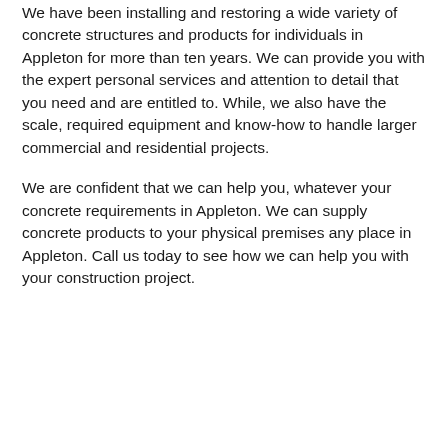We have been installing and restoring a wide variety of concrete structures and products for individuals in Appleton for more than ten years. We can provide you with the expert personal services and attention to detail that you need and are entitled to. While, we also have the scale, required equipment and know-how to handle larger commercial and residential projects.
We are confident that we can help you, whatever your concrete requirements in Appleton. We can supply concrete products to your physical premises any place in Appleton. Call us today to see how we can help you with your construction project.